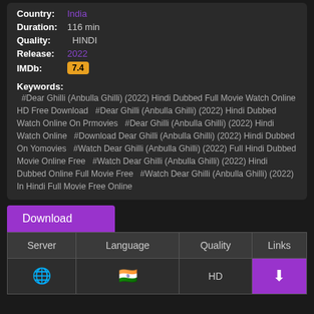Country: India
Duration: 116 min
Quality: HINDI
Release: 2022
IMDb: 7.4
Keywords: #Dear Ghilli (Anbulla Ghilli) (2022) Hindi Dubbed Full Movie Watch Online HD Free Download #Dear Ghilli (Anbulla Ghilli) (2022) Hindi Dubbed Watch Online On Prmovies #Dear Ghilli (Anbulla Ghilli) (2022) Hindi Watch Online #Download Dear Ghilli (Anbulla Ghilli) (2022) Hindi Dubbed On Yomovies #Watch Dear Ghilli (Anbulla Ghilli) (2022) Full Hindi Dubbed Movie Online Free #Watch Dear Ghilli (Anbulla Ghilli) (2022) Hindi Dubbed Online Full Movie Free #Watch Dear Ghilli (Anbulla Ghilli) (2022) In Hindi Full Movie Free Online
| Server | Language | Quality | Links |
| --- | --- | --- | --- |
| 🌐 | 🇮🇳 | HD | ⬇ |